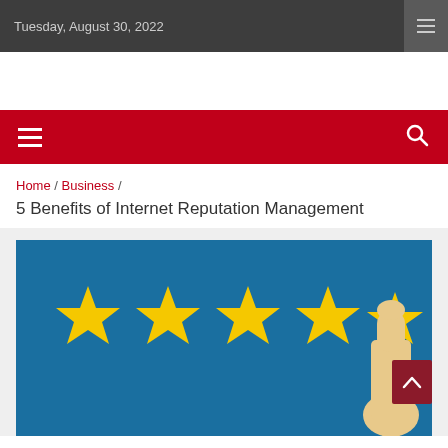Tuesday, August 30, 2022
[Figure (screenshot): Red navigation bar with hamburger menu icon on the left and search icon on the right]
Home / Business / 5 Benefits of Internet Reputation Management
5 Benefits of Internet Reputation Management
[Figure (illustration): Blue background with five yellow stars and a hand/finger pointing at the last star, representing a 5-star rating for internet reputation management]